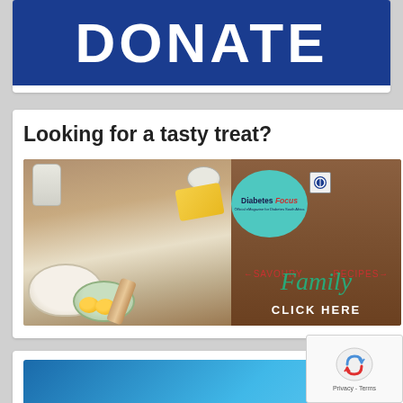[Figure (other): Blue donate button banner, partially visible at top]
Looking for a tasty treat?
[Figure (other): Diabetes Focus Family Recipes advertisement with baking ingredients photo showing flour, eggs, butter, milk jug on wooden background with teal circle showing Diabetes Focus logo and text CLICK HERE]
[Figure (other): Partial blue gradient banner with red 'new' badge, partially visible at bottom]
[Figure (other): reCAPTCHA Privacy - Terms overlay widget at bottom right]